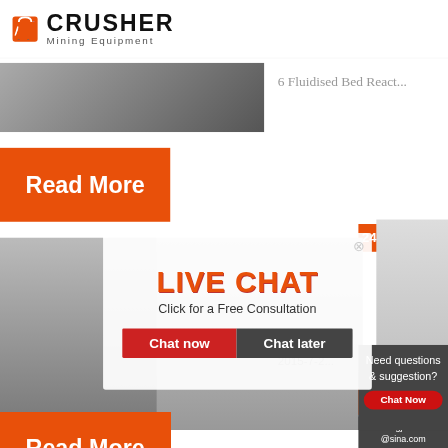[Figure (logo): Crusher Mining Equipment logo with red shopping bag icon and bold CRUSHER text]
[Figure (photo): Top banner photo of mining/construction equipment]
6 Fluidised Bed React...
[Figure (infographic): Orange Read More button]
[Figure (infographic): 24Hrs Online orange badge]
[Figure (photo): Live Chat overlay with workers in hard hats, LIVE CHAT title, Chat now and Chat later buttons, and customer service agent photo]
[Figure (photo): Industrial machinery photo on left side]
REACTOR
2015-7-2...
[Figure (infographic): Need questions & suggestion? Chat Now box in dark grey]
[Figure (infographic): Enquiry orange box]
[Figure (infographic): limingjlmofen@sina.com email box in dark grey]
[Figure (infographic): Orange Read More button at bottom]